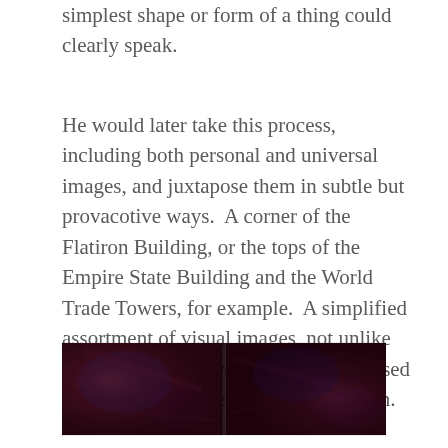simplest shape or form of a thing could clearly speak.
He would later take this process, including both personal and universal images, and juxtapose them in subtle but provacotive ways.  A corner of the Flatiron Building, or the tops of the Empire State Building and the World Trade Towers, for example.  A simplified assortment of visual images, not unlike the sparse and provacotive language used by Raymond Carver and Musa McKim.
[Figure (photo): A dark reddish-brown artwork or photograph showing two panels side by side with a vertical seam in the center, textured surface with deep maroon and purple tones.]